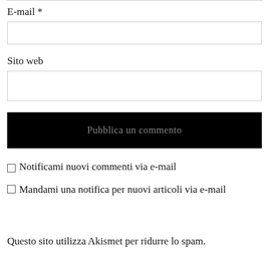E-mail *
Sito web
Pubblica un commento
Notificami nuovi commenti via e-mail
Mandami una notifica per nuovi articoli via e-mail
Questo sito utilizza Akismet per ridurre lo spam.